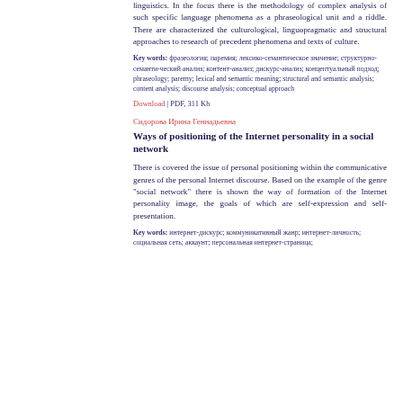linguistics. In the focus there is the methodology of complex analysis of such specific language phenomena as a phraseological unit and a riddle. There are characterized the culturological, linguopragmatic and structural approaches to research of precedent phenomena and texts of culture.
Key words: фразеология; паремия; лексико-семантическое значение; структурно-семанти-ческий анализ; контент-анализ; дискурс-анализ; концептуальный подход; phraseology; paremy; lexical and semantic meaning; structural and semantic analysis; content analysis; discourse analysis; conceptual approach
Download | PDF, 311 Kb
Сидорова Ирина Геннадьевна
Ways of positioning of the Internet personality in a social network
There is covered the issue of personal positioning within the communicative genres of the personal Internet discourse. Based on the example of the genre "social network" there is shown the way of formation of the Internet personality image, the goals of which are self-expression and self-presentation.
Key words: интернет-дискурс; коммуникативный жанр; интернет-личность; социальная сеть; аккаунт; персональная интернет-страница;